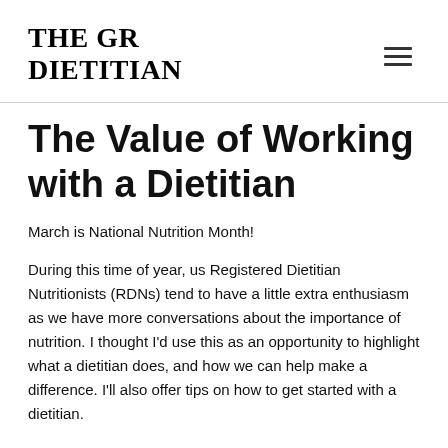THE GR DIETITIAN
The Value of Working with a Dietitian
March is National Nutrition Month!
During this time of year, us Registered Dietitian Nutritionists (RDNs) tend to have a little extra enthusiasm as we have more conversations about the importance of nutrition. I thought I'd use this as an opportunity to highlight what a dietitian does, and how we can help make a difference. I'll also offer tips on how to get started with a dietitian.